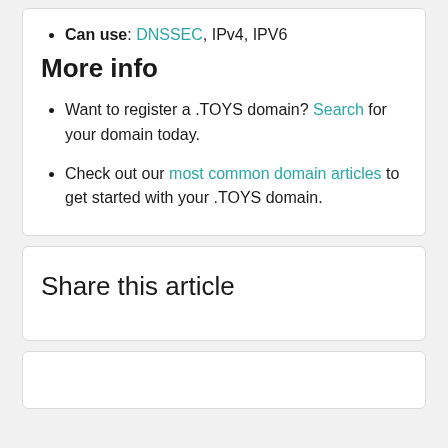Can use: DNSSEC, IPv4, IPV6
More info
Want to register a .TOYS domain? Search for your domain today.
Check out our most common domain articles to get started with your .TOYS domain.
Share this article